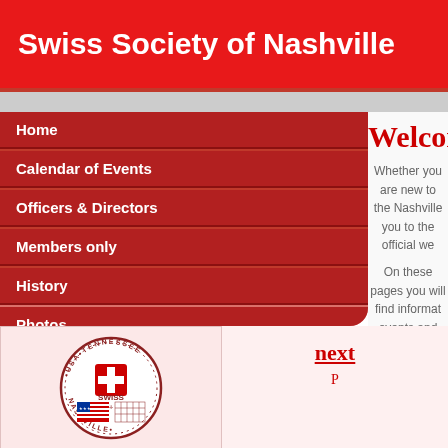Swiss Society of Nashville
Home
Calendar of Events
Officers & Directors
Members only
History
Photos
Links
Contact Us
Welcom
Whether you are new to the Nashville you to the official we
On these pages you will find informat events and contact inform
Wir sprechen a
[Figure (logo): Swiss Society of Nashville circular seal with Swiss cross, US flag, and text NASHVILLE USA TENNESSEE SWISS]
next
P